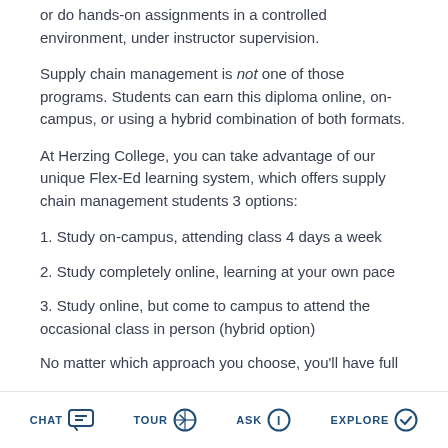or do hands-on assignments in a controlled environment, under instructor supervision.
Supply chain management is not one of those programs. Students can earn this diploma online, on-campus, or using a hybrid combination of both formats.
At Herzing College, you can take advantage of our unique Flex-Ed learning system, which offers supply chain management students 3 options:
1. Study on-campus, attending class 4 days a week
2. Study completely online, learning at your own pace
3. Study online, but come to campus to attend the occasional class in person (hybrid option)
No matter which approach you choose, you'll have full
CHAT   TOUR   ASK   EXPLORE